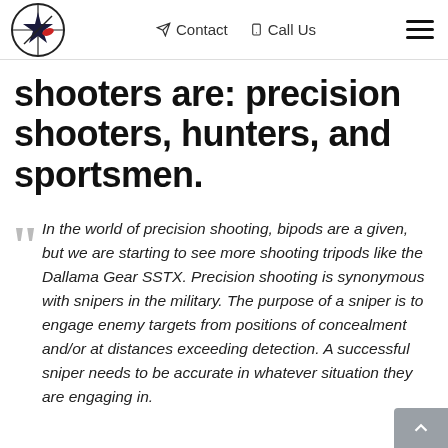Contact | Call Us
shooters are: precision shooters, hunters, and sportsmen.
In the world of precision shooting, bipods are a given, but we are starting to see more shooting tripods like the Dallama Gear SSTX. Precision shooting is synonymous with snipers in the military. The purpose of a sniper is to engage enemy targets from positions of concealment and/or at distances exceeding detection. A successful sniper needs to be accurate in whatever situation they are engaging in.